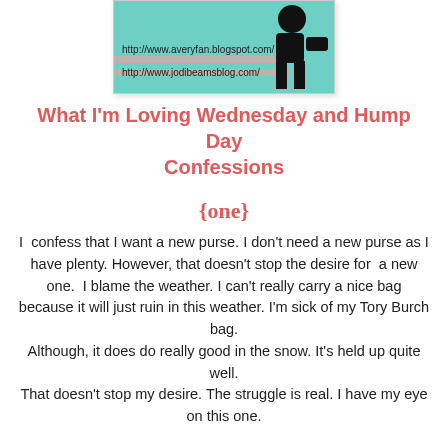[Figure (screenshot): Blog header image with teal/mint background, silhouette of a person, and two URLs: http://www.averyfan.blogspot.com/ and http://www.jodibeamsblog.com/]
What I'm Loving Wednesday and Hump Day Confessions
{one}
I  confess that I want a new purse. I don't need a new purse as I have plenty. However, that doesn't stop the desire for  a new one.  I blame the weather. I can't really carry a nice bag because it will just ruin in this weather. I'm sick of my Tory Burch bag.
Although, it does do really good in the snow. It's held up quite well.
That doesn't stop my desire. The struggle is real. I have my eye on this one.